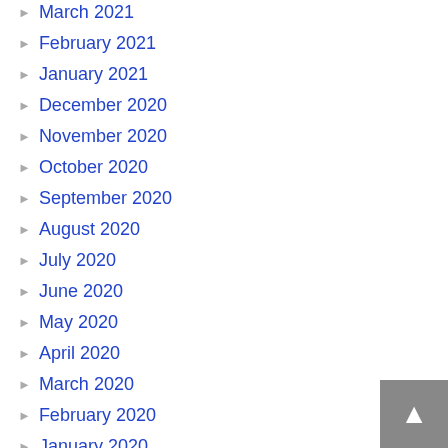March 2021
February 2021
January 2021
December 2020
November 2020
October 2020
September 2020
August 2020
July 2020
June 2020
May 2020
April 2020
March 2020
February 2020
January 2020
December 2019
November 2019